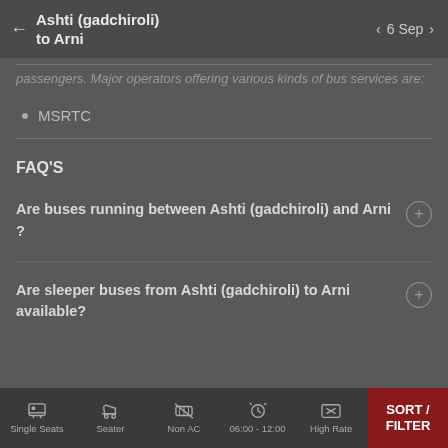Ashti (gadchiroli) to Arni | 6 Sep
passengers. Major operators offering various kinds of bus services are:
MSRTC
FAQ'S
Are buses running between Ashti (gadchiroli) and Arni ?
Are sleeper buses from Ashti (gadchiroli) to Arni available?
Single Seats | Seater | Non AC | 06:00 - 12:00 | High Rate | SORT / FILTER